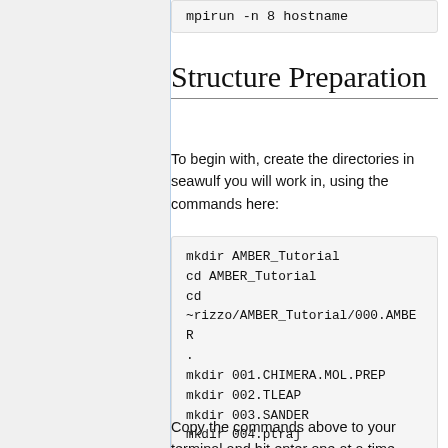mpirun -n 8 hostname
Structure Preparation
To begin with, create the directories in seawulf you will work in, using the commands here:
mkdir AMBER_Tutorial
cd AMBER_Tutorial
cd
~rizzo/AMBER_Tutorial/000.AMBER
.
mkdir 001.CHIMERA.MOL.PREP
mkdir 002.TLEAP
mkdir 003.SANDER
mkdir 004.ptraj
Copy the commands above to your terminal and hit enter one at a time.